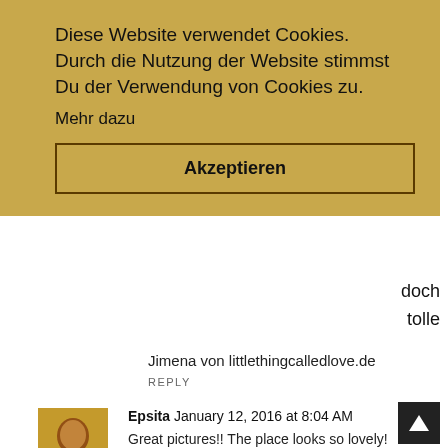Diese Website verwendet Cookies. Durch die Nutzung der Website stimmst Du der Verwendung von Cookies zu.
Mehr dazu
Akzeptieren
doch
tolle
Jimena von littlethingcalledlove.de
REPLY
[Figure (photo): Avatar photo of Epsita]
Epsita January 12, 2016 at 8:04 AM
Great pictures!! The place looks so lovely!
New Post@ www.thepositivewindow.com
REPLY